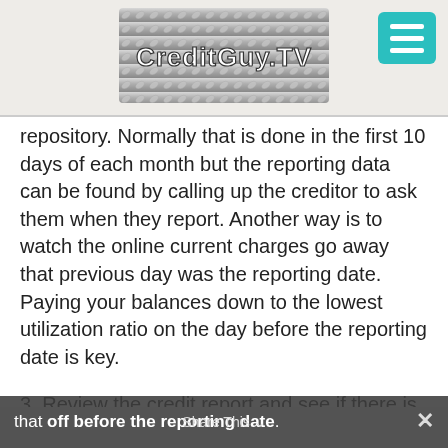CreditGuy.TV
repository. Normally that is done in the first 10 days of each month but the reporting data can be found by calling up the creditor to ask them when they report. Another way is to watch the online current charges go away that previous day was the reporting date. Paying your balances down to the lowest utilization ratio on the day before the reporting date is key.
3. Review the credit report and see if there is a dormant credit card that is still opened but may not have been used for a while. Like Home Depot or a Jewelry card, try to charge something on that card thereby creating new recent activity and then pay that off before the reporting date. That will reactivate that credit card
that off before the reporting date. Share This × That will reactivate that credit card